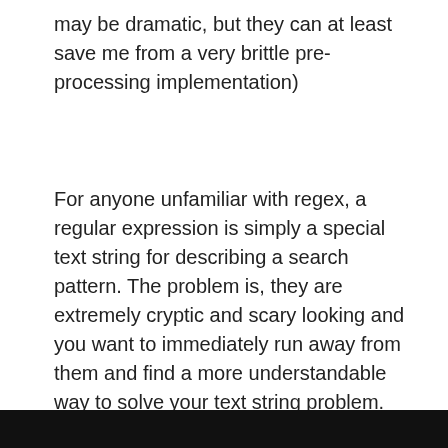may be dramatic, but they can at least save me from a very brittle pre-processing implementation)
For anyone unfamiliar with regex, a regular expression is simply a special text string for describing a search pattern. The problem is, they are extremely cryptic and scary looking and you want to immediately run away from them and find a more understandable way to solve your text string problem. For instance, a regular expression that would find a number (integer or decimal) in a long string of characters would be defined as
[Figure (other): Black bar at the bottom of the page, likely a code block or image beginning]